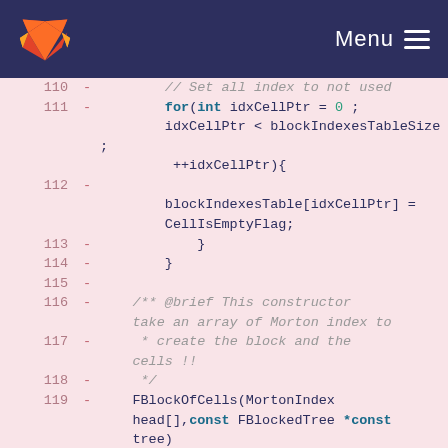[Figure (screenshot): GitLab navigation bar with GitLab fox logo on the left and Menu button with hamburger icon on the right, dark navy background]
Code diff viewer showing lines 110-120 of a C++ source file with removed lines (marked with -). Lines show a for loop setting blockIndexesTable entries to CellIsEmptyFlag, closing braces, a Doxygen comment about a constructor taking Morton index array, and FBlockOfCells constructor with parameters and initializer list starting with memoryBuffer(0), blockHeader(0).